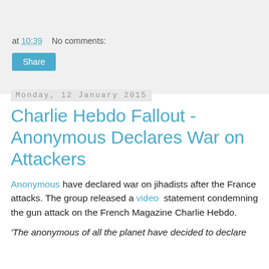at 10:39   No comments:
Share
Monday, 12 January 2015
Charlie Hebdo Fallout - Anonymous Declares War on Attackers
Anonymous have declared war on jihadists after the France attacks. The group released a video statement condemning the gun attack on the French Magazine Charlie Hebdo.
'The anonymous of all the planet have decided to declare